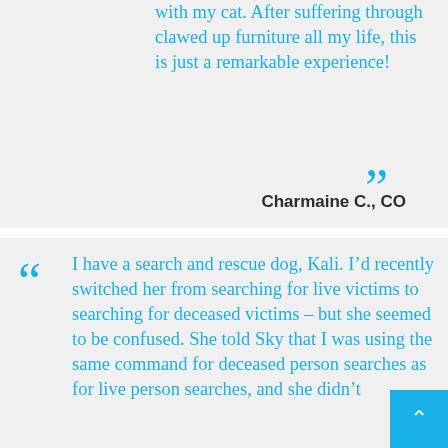with my cat. After suffering through clawed up furniture all my life, this is just a remarkable experience!
Charmaine C., CO
I have a search and rescue dog, Kali. I'd recently switched her from searching for live victims to searching for deceased victims – but she seemed to be confused. She told Sky that I was using the same command for deceased person searches as for live person searches, and she didn't